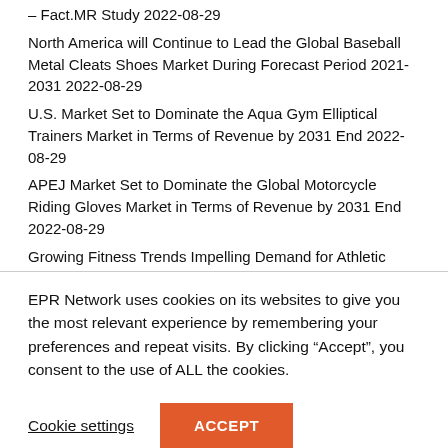– Fact.MR Study 2022-08-29
North America will Continue to Lead the Global Baseball Metal Cleats Shoes Market During Forecast Period 2021-2031 2022-08-29
U.S. Market Set to Dominate the Aqua Gym Elliptical Trainers Market in Terms of Revenue by 2031 End 2022-08-29
APEJ Market Set to Dominate the Global Motorcycle Riding Gloves Market in Terms of Revenue by 2031 End 2022-08-29
Growing Fitness Trends Impelling Demand for Athletic Footwear in the U.S During Forecast Period 2021-2031
EPR Network uses cookies on its websites to give you the most relevant experience by remembering your preferences and repeat visits. By clicking “Accept”, you consent to the use of ALL the cookies.
Cookie settings
ACCEPT